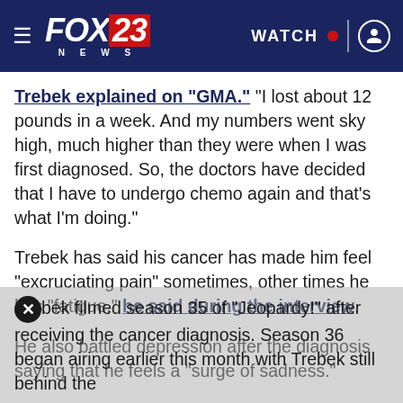FOX 23 NEWS | WATCH
Trebek explained on "GMA." "I lost about 12 pounds in a week. And my numbers went sky high, much higher than they were when I was first diagnosed. So, the doctors have decided that I have to undergo chemo again and that's what I'm doing."
Trebek has said his cancer has made him feel "excruciating pain" sometimes, other times he has "fatigue," he said during the interview.
He also battled depression after the diagnosis saying that he feels a "surge of sadness."
Trebek filmed season 35 of "Jeopardy!" after receiving the cancer diagnosis. Season 36 began airing earlier this month with Trebek still behind the